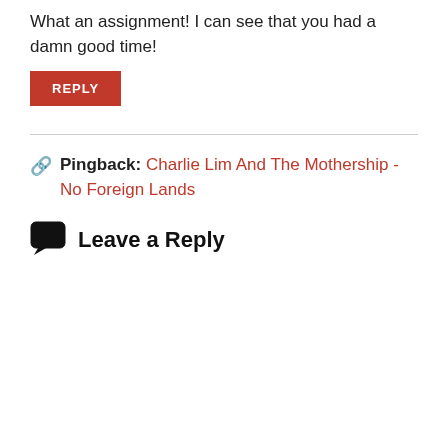What an assignment! I can see that you had a damn good time!
REPLY
Pingback: Charlie Lim And The Mothership - No Foreign Lands
Leave a Reply